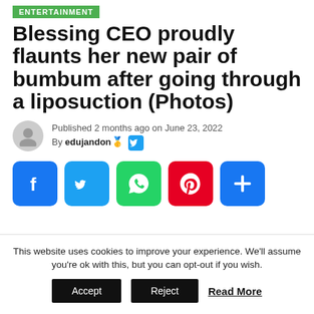ENTERTAINMENT
Blessing CEO proudly flaunts her new pair of bumbum after going through a liposuction (Photos)
Published 2 months ago on June 23, 2022
By edujandon 🥇
[Figure (infographic): Row of social sharing buttons: Facebook (blue), Twitter (light blue), WhatsApp (green), Pinterest (red), Share/plus (blue)]
This website uses cookies to improve your experience. We'll assume you're ok with this, but you can opt-out if you wish.
Accept   Reject   Read More